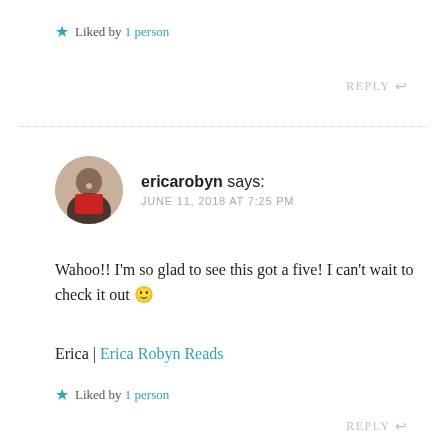★ Liked by 1 person
REPLY ↩
ericarobyn says: JUNE 11, 2018 AT 7:25 PM
Wahoo!! I'm so glad to see this got a five! I can't wait to check it out 🙂
Erica | Erica Robyn Reads
★ Liked by 1 person
REPLY ↩